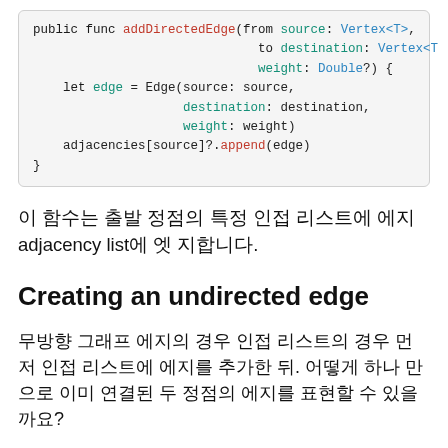[Figure (screenshot): Swift code block showing addDirectedEdge function implementation with syntax highlighting]
이 함수는 출발 정점의 특정 인접 리스트에 에지 adjacency list에 엣 지합니다.
Creating an undirected edge
무방향 그래프 에지의 경우 인접 리스트의 경우 먼저 인접 리스트에 에지를 추가한 뒤. 어떻게 하나 만으로 이미 연결된 두 정점의 에지를 표현할 수 있을까요?
무방향 그래프(undirected graph)는 에지의 방향